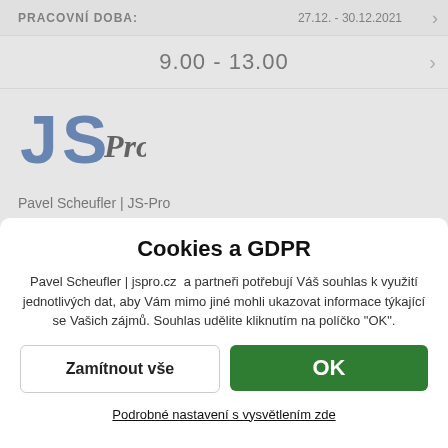PRACOVNÍ DOBA: 27.12. - 30.12.2021
9.00 - 13.00
[Figure (logo): JS Pro company logo with stylized JS letters in blue and 'Pro' in italic script]
Pavel Scheufler | JS-Pro
Nádražní 2151
549 01 Nové Město nad Metují
Cookies a GDPR
Pavel Scheufler | jspro.cz  a partneři potřebují Váš souhlas k využití jednotlivých dat, aby Vám mimo jiné mohli ukazovat informace týkající se Vašich zájmů. Souhlas udělite kliknutím na políčko "OK".
Zamítnout vše
OK
Podrobné nastavení s vysvětlením zde